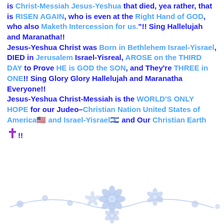is Christ-Messiah Jesus-Yeshua that died, yea rather, that is RISEN AGAIN, who is even at the Right Hand of GOD, who also Maketh Intercession for us."!! Sing Hallelujah and Maranatha!! Jesus-Yeshua Christ was Born in Bethlehem Israel-Yisrael, DIED in Jerusalem Israel-Yisreal, AROSE on the THIRD DAY to Prove HE is GOD the SON, and They're THREE in ONE!! Sing Glory Glory Hallelujah and Maranatha Everyone!! Jesus-Yeshua Christ-Messiah is the WORLD'S ONLY HOPE for our Judeo–Christian Nation United States of America🇺🇸 and Israel-Yisrael🇮🇱 and Our Christian Earth ✝️!!
[Figure (illustration): Decorative floral divider with blue flowers and vine, centered at the bottom of the page]